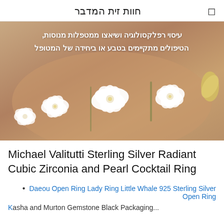חוות זית המדבר
[Figure (photo): Hero banner image showing a spa/massage scene with white orchid flowers on a warm beige/skin-tone background. Hebrew text overlay reads: עיסוי רפלקסולוגיה ושיאצו ממטפלות מנוסות, הטיפולים מתקיימים בטבע או ביחידה של המטופל]
Michael Valitutti Sterling Silver Radiant Cubic Zirconia and Pearl Cocktail Ring
Daeou Open Ring Lady Ring Little Whale 925 Sterling Silver Open Ring
Kasha and Murton Gemstone Black Packaging...